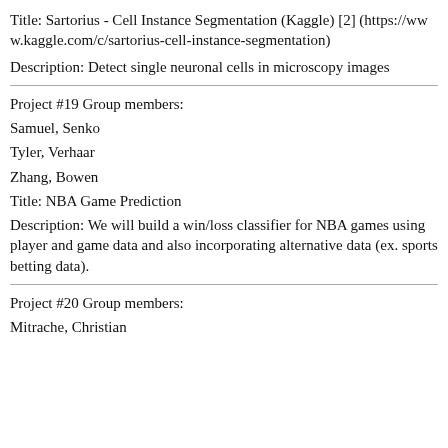Title: Sartorius - Cell Instance Segmentation (Kaggle) [2] (https://www.kaggle.com/c/sartorius-cell-instance-segmentation)
Description: Detect single neuronal cells in microscopy images
Project #19 Group members:
Samuel, Senko
Tyler, Verhaar
Zhang, Bowen
Title: NBA Game Prediction
Description: We will build a win/loss classifier for NBA games using player and game data and also incorporating alternative data (ex. sports betting data).
Project #20 Group members:
Mitrache, Christian